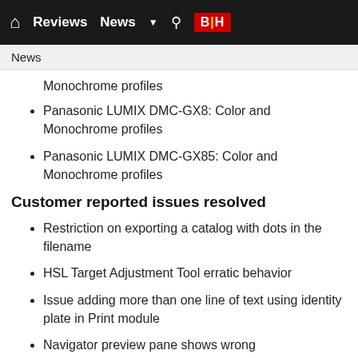Reviews  News  B|H
News
Monochrome profiles
Panasonic LUMIX DMC-GX8: Color and Monochrome profiles
Panasonic LUMIX DMC-GX85: Color and Monochrome profiles
Customer reported issues resolved
Restriction on exporting a catalog with dots in the filename
HSL Target Adjustment Tool erratic behavior
Issue adding more than one line of text using identity plate in Print module
Navigator preview pane shows wrong